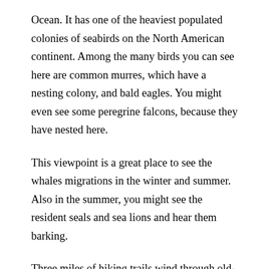Ocean. It has one of the heaviest populated colonies of seabirds on the North American continent. Among the many birds you can see here are common murres, which have a nesting colony, and bald eagles. You might even see some peregrine falcons, because they have nested here.
This viewpoint is a great place to see the whales migrations in the winter and summer. Also in the summer, you might see the resident seals and sea lions and hear them barking.
Three miles of hiking trails wind through old-growth spruce trees and an octopus tree. Another quarter-mile trail from the turnoff at the park's entrance ends at the largest Sitka spruce tree in Oregon.
Another highlight is the Cape Meares Lighthouse, built in